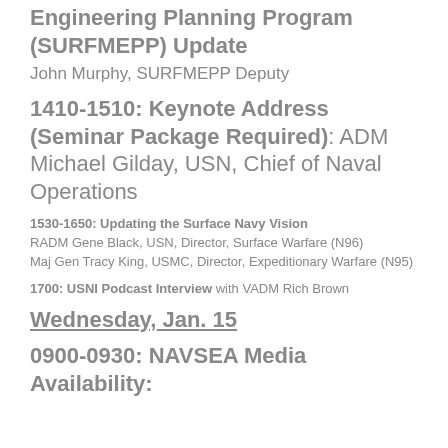Availability/Surface Maintenance Engineering Planning Program (SURFMEPP) Update
John Murphy, SURFMEPP Deputy
1410-1510: Keynote Address (Seminar Package Required): ADM Michael Gilday, USN, Chief of Naval Operations
1530-1650: Updating the Surface Navy Vision
RADM Gene Black, USN, Director, Surface Warfare (N96)
Maj Gen Tracy King, USMC, Director, Expeditionary Warfare (N95)
1700: USNI Podcast Interview with VADM Rich Brown
Wednesday, Jan. 15
0900-0930: NAVSEA Media Availability: